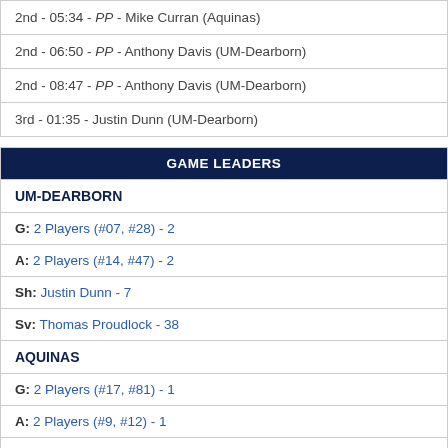| 2nd - 05:34 - PP - Mike Curran (Aquinas) |
| 2nd - 06:50 - PP - Anthony Davis (UM-Dearborn) |
| 2nd - 08:47 - PP - Anthony Davis (UM-Dearborn) |
| 3rd - 01:35 - Justin Dunn (UM-Dearborn) |
| GAME LEADERS |
| --- |
| UM-DEARBORN |
| G: 2 Players (#07, #28) - 2 |
| A: 2 Players (#14, #47) - 2 |
| Sh: Justin Dunn - 7 |
| Sv: Thomas Proudlock - 38 |
| AQUINAS |
| G: 2 Players (#17, #81) - 1 |
| A: 2 Players (#9, #12) - 1 |
| Sh: Trent Kulczyk - 6 |
| Sv: Roman Malkov - 19 |